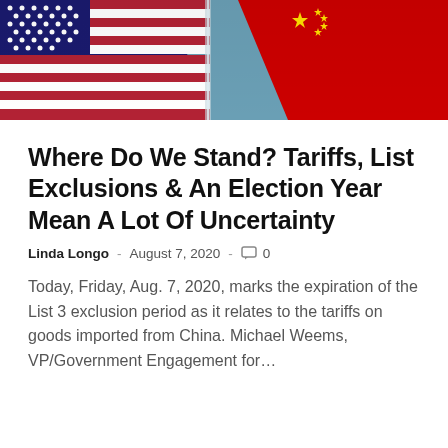[Figure (photo): Photo of American flag and another flag facing each other against a blue background]
Where Do We Stand? Tariffs, List Exclusions & An Election Year Mean A Lot Of Uncertainty
Linda Longo  -  August 7, 2020  -  0
Today, Friday, Aug. 7, 2020, marks the expiration of the List 3 exclusion period as it relates to the tariffs on goods imported from China. Michael Weems, VP/Government Engagement for…